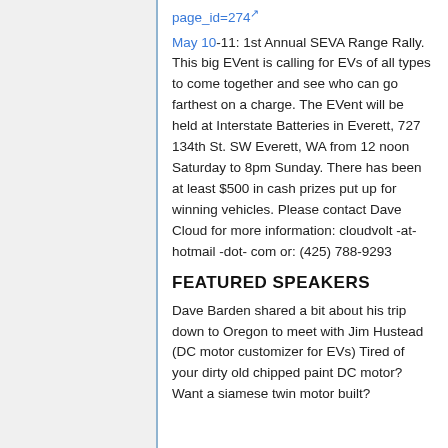page_id=274
May 10-11: 1st Annual SEVA Range Rally. This big EVent is calling for EVs of all types to come together and see who can go farthest on a charge. The EVent will be held at Interstate Batteries in Everett, 727 134th St. SW Everett, WA from 12 noon Saturday to 8pm Sunday. There has been at least $500 in cash prizes put up for winning vehicles. Please contact Dave Cloud for more information: cloudvolt -at- hotmail -dot- com or: (425) 788-9293
FEATURED SPEAKERS
Dave Barden shared a bit about his trip down to Oregon to meet with Jim Hustead (DC motor customizer for EVs) Tired of your dirty old chipped paint DC motor? Want a siamese twin motor built?